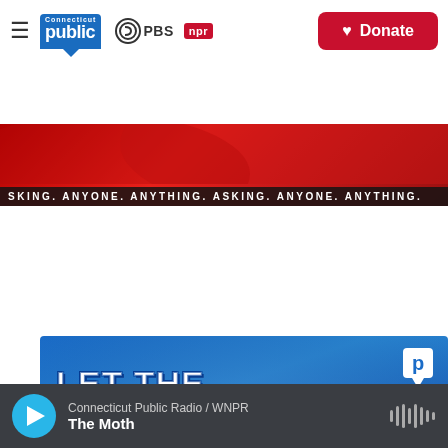[Figure (screenshot): Connecticut Public header bar with hamburger menu, Connecticut Public/PBS/NPR logos, and red Donate button]
[Figure (photo): Red banner with text 'ASKING. ANYONE. ANYTHING. ASKING. ANYONE. ANYTHING.' scrolling marquee]
[Figure (illustration): Blue promotional card reading 'LET THE GAMES BEGIN! Connecticut Word & Logic Puzzles' with Connecticut Public 'p' logo in corner]
Connecticut Public Radio / WNPR
The Moth